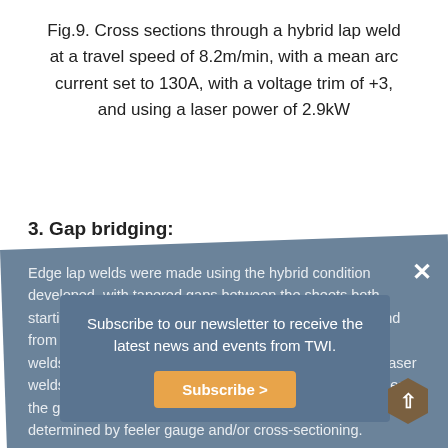Fig.9. Cross sections through a hybrid lap weld at a travel speed of 8.2m/min, with a mean arc current set to 130A, with a voltage trim of +3, and using a laser power of 2.9kW
3. Gap bridging:
Edge lap welds were made using the hybrid condition developed, with tapered gaps between the sheets both starting at zero and running to a nominal gap of 2mm, and from a nominal gap of 2mm running to zero gap. These welds were then compared with equivalent autogenous laser welds made at the same travel speed. Table 2 summarises the gap bridging results, with the actual gap sizes being determined by feeler gauge and/or cross-sectioning.